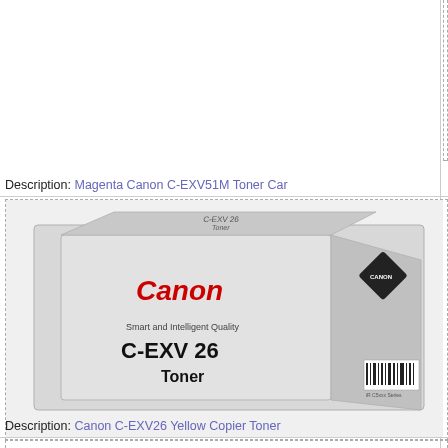Type: This is
Add T
Description: Magenta Canon C-EXV51M Toner Car
[Figure (photo): Canon C-EXV 26 Toner cartridge box, grey/silver box with red Canon logo, text reading Smart and Intelligent Quality, C-EXV 26, Toner]
Canon
Description: Canon C-EXV26 Yellow Copier Toner